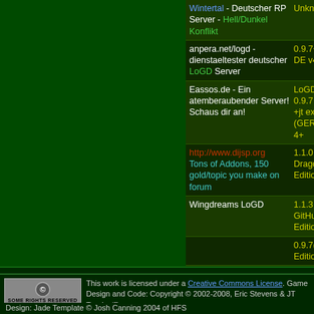| Server Name | Version |
| --- | --- |
| Wintertal - Deutscher RP Server - Hell/Dunkel Konflikt | Unknown |
| anpera.net/logd - dienstaeltester deutscher LoGD Server | 0.9.7+jt DE v4 |
| Eassos.de - Ein atemberaubender Server! Schaus dir an! | LoGD 0.9.7 +jt ext (GER) 4+ |
| http://www.dijsp.org Tons of Addons, 150 gold/topic you make on forum | 1.1.0 Dragonprime Edition |
| Wingdreams LoGD | 1.1.3 GitHub Edition |
|  | 0.9.7(Dragonslayer Edition V3) |
Total active players across all servers: 6,656.
This work is licensed under a Creative Commons License. Game Design and Code: Copyright © 2002-2008, Eric Stevens & JT Traub Design: Jade Template © Josh Canning 2004 of HFS